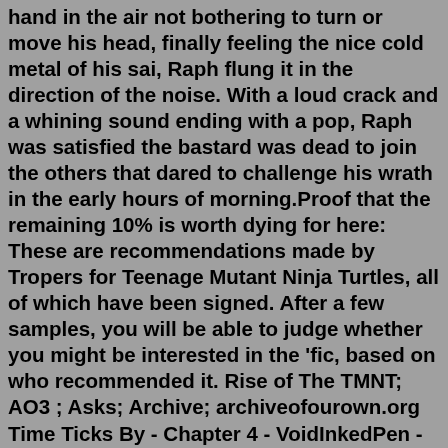hand in the air not bothering to turn or move his head, finally feeling the nice cold metal of his sai, Raph flung it in the direction of the noise. With a loud crack and a whining sound ending with a pop, Raph was satisfied the bastard was dead to join the others that dared to challenge his wrath in the early hours of morning.Proof that the remaining 10% is worth dying for here: These are recommendations made by Tropers for Teenage Mutant Ninja Turtles, all of which have been signed. After a few samples, you will be able to judge whether you might be interested in the 'fic, based on who recommended it. Rise of The TMNT; AO3 ; Asks; Archive; archiveofourown.org Time Ticks By - Chapter 4 - VoidInkedPen - Rise of the Teenage Mutant Ninja Turtles (Cartoon 2018) [Archive of Our Own] Chapter 4 is UP! Also minor update: chapters 1 - 3 were edited so I'd recommend re-reading them before the newest chapter~.TMNT Mikey was still crying in her hold, and honestly she didn't want to disturb him but she knew it would be better if they could get Mikey out of here as soon as